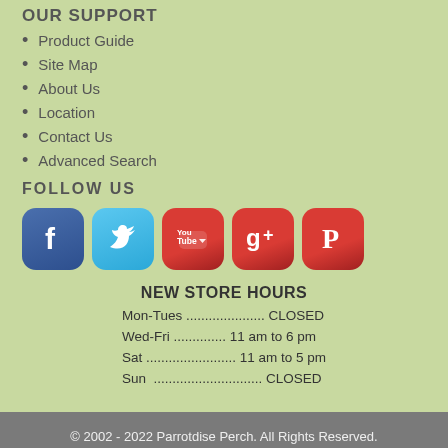OUR SUPPORT
Product Guide
Site Map
About Us
Location
Contact Us
Advanced Search
FOLLOW US
[Figure (illustration): Social media icons for Facebook, Twitter, YouTube, Google+, and Pinterest]
NEW STORE HOURS
Mon-Tues ..................... CLOSED
Wed-Fri .............. 11 am to 6 pm
Sat ........................ 11 am to 5 pm
Sun  ............................. CLOSED
© 2002 - 2022 Parrotdise Perch. All Rights Reserved. Design by K Design Studio